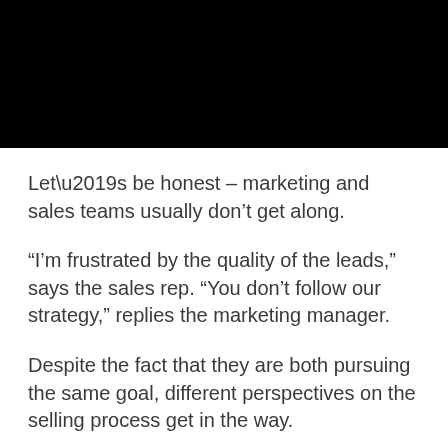[Figure (photo): Black rectangular image/banner at the top of the page]
Let’s be honest – marketing and sales teams usually don’t get along.
“I’m frustrated by the quality of the leads,” says the sales rep. “You don’t follow our strategy,” replies the marketing manager.
Despite the fact that they are both pursuing the same goal, different perspectives on the selling process get in the way.